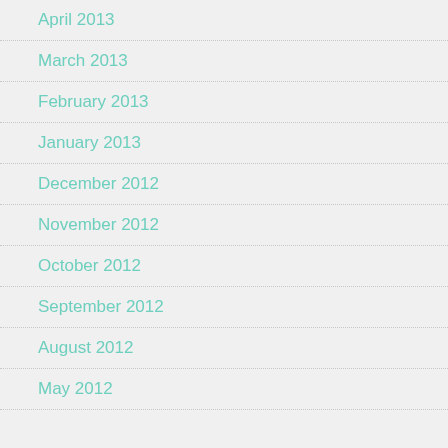April 2013
March 2013
February 2013
January 2013
December 2012
November 2012
October 2012
September 2012
August 2012
May 2012